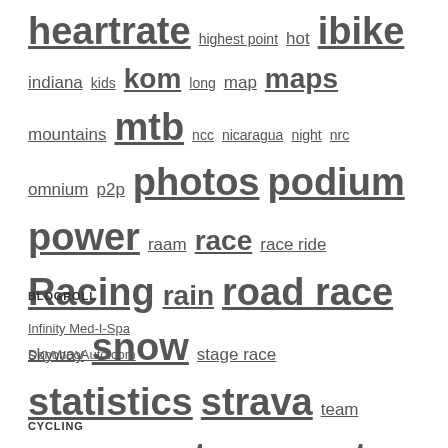heartrate highest point hot ibike indiana kids kom long map maps mountains mtb ncc nicaragua night nrc omnium p2p photos podium power raam race race ride Racing rain road race skyway snow stage race statistics strava team time trial toad topocreator tornado Training travel twilight ultra usacrits vacation video videos weather wisconsin
BLOGROLL
Infinity Med-I-Spa
DonohooAuto.com
CYCLING